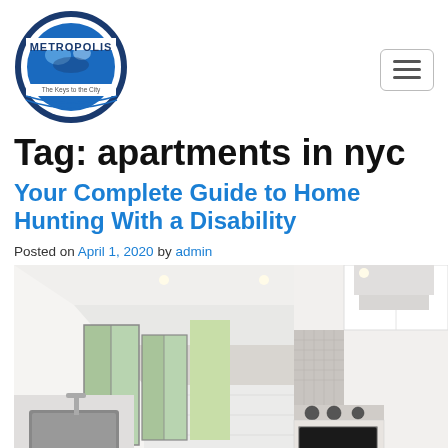[Figure (logo): Metropolis logo — circular emblem with blue globe and text 'METROPOLIS' above, tagline below]
Tag: apartments in nyc
Your Complete Guide to Home Hunting With a Disability
Posted on April 1, 2020 by admin
[Figure (photo): Interior photo of a bright, modern white kitchen and open hallway with large glass sliding doors and natural light]